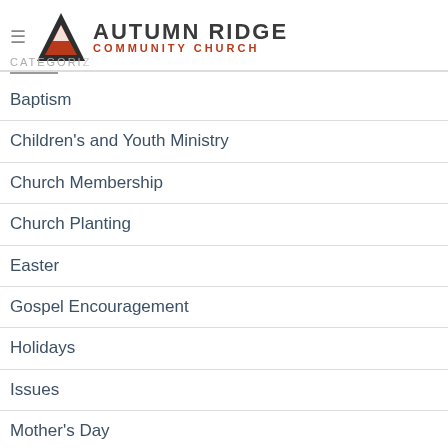AUTUMN RIDGE COMMUNITY CHURCH
CATEGORIES
Baptism
Children's and Youth Ministry
Church Membership
Church Planting
Easter
Gospel Encouragement
Holidays
Issues
Mother's Day